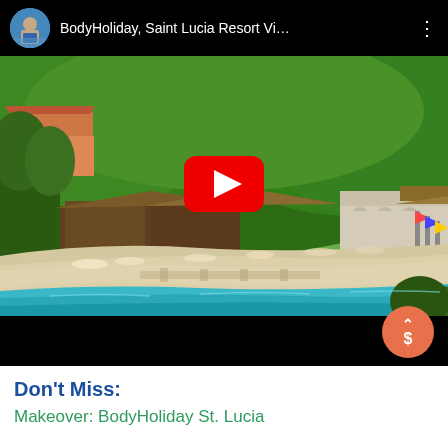[Figure (screenshot): YouTube video bar with avatar thumbnail, video title 'BodyHoliday, Saint Lucia Resort Vi…' and three-dot menu icon on black background]
[Figure (screenshot): YouTube video thumbnail showing aerial view of BodyHoliday Saint Lucia resort beach with lush green hills, resort buildings, white sand beach, turquoise water, and large red YouTube play button overlay. Below thumbnail is a black bar with orange scroll-to-price button showing up arrow and dollar sign.]
Don't Miss:
Makeover: BodyHoliday St. Lucia